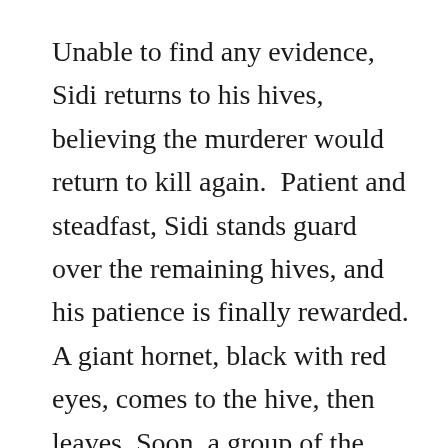Unable to find any evidence, Sidi returns to his hives, believing the murderer would return to kill again.  Patient and steadfast, Sidi stands guard over the remaining hives, and his patience is finally rewarded. A giant hornet, black with red eyes, comes to the hive, then leaves. Soon, a group of the same kinds of hornets appear, swarm the remaining hive slaughtering more bees before Sidi, in protective clothing, can catch and crush them one by one.  Managing to